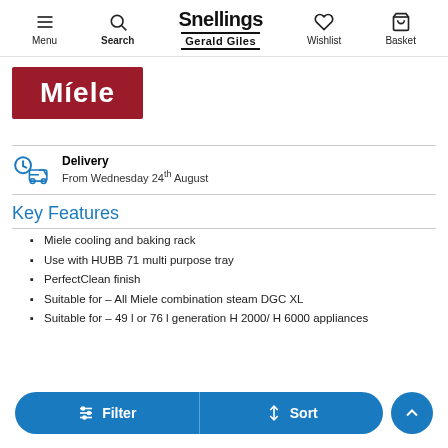Menu | Search | Snellings Gerald Giles | Wishlist | Basket
[Figure (logo): Miele brand logo: white text 'Miele' on dark red/maroon background rectangle]
Delivery
From Wednesday 24th August
Key Features
Miele cooling and baking rack
Use with HUBB 71 multi purpose tray
PerfectClean finish
Suitable for – All Miele combination steam DGC XL
Suitable for – 49 l or 76 l generation H 2000/ H 6000 appliances